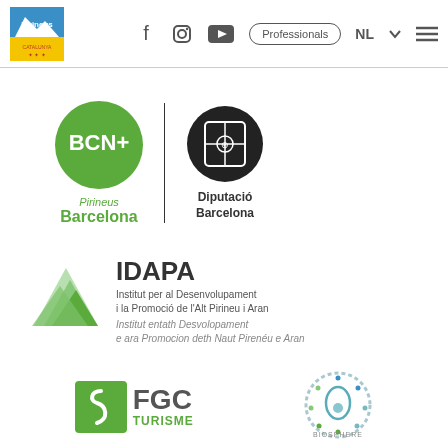[Figure (screenshot): Website navigation bar with Pirineus logo, social media icons (Facebook, Instagram, YouTube), Professionals button, NL language selector, dropdown arrow, and hamburger menu]
[Figure (logo): BCN+ Pirineus Barcelona logo (green circle with BCN+ text) alongside Diputació Barcelona logo (black circle with coat of arms), separated by a vertical line]
[Figure (logo): IDAPA logo with green mountain graphic and text: IDAPA, Institut per al Desenvolupament i la Promoció de l'Alt Pirineu i Aran, Institut entath Desvolopament e ara Promocion deth Naut Pirenéu e Aran]
[Figure (logo): FGC Turisme logo (green square with white swirl icon and FGC TURISME text)]
[Figure (logo): Biosphere logo (circular dotted badge with leaf/drop icon and BIOSPHERE text)]